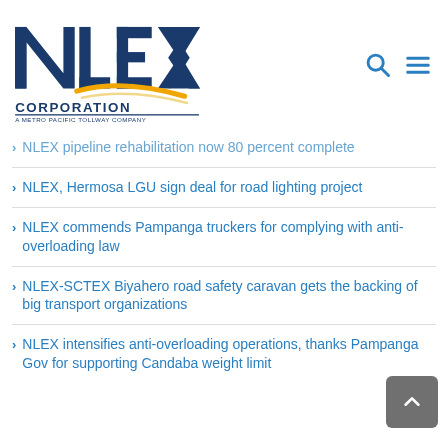[Figure (logo): NLEX Corporation logo — A Metro Pacific Tollway Company]
NLEX pipeline rehabilitation now 80 percent complete
NLEX, Hermosa LGU sign deal for road lighting project
NLEX commends Pampanga truckers for complying with anti-overloading law
NLEX-SCTEX Biyahero road safety caravan gets the backing of big transport organizations
NLEX intensifies anti-overloading operations, thanks Pampanga Gov for supporting Candaba weight limit